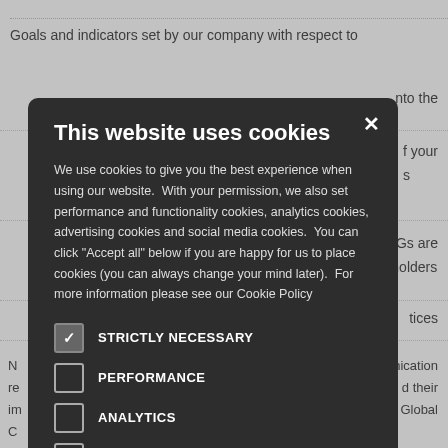Goals and indicators set by our company with respect to
nto the
f your s
e SDGs are takeholders
tices
communication d their with the UN Global
This website uses cookies
We use cookies to give you the best experience when using our website.  With your permission, we also set performance and functionality cookies, analytics cookies, advertising cookies and social media cookies.  You can click "Accept all" below if you are happy for us to place cookies (you can always change your mind later).  For more information please see our Cookie Policy
STRICTLY NECESSARY
PERFORMANCE
ANALYTICS
FUNCTIONALITY
SOCIAL MEDIA